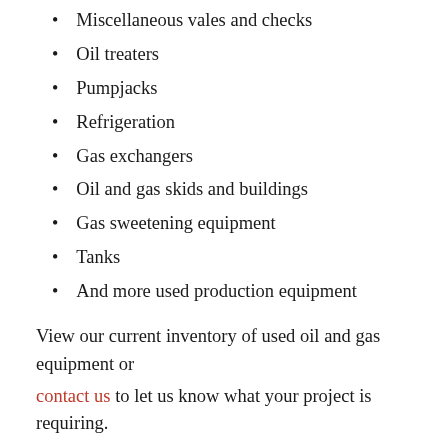Miscellaneous vales and checks
Oil treaters
Pumpjacks
Refrigeration
Gas exchangers
Oil and gas skids and buildings
Gas sweetening equipment
Tanks
And more used production equipment
View our current inventory of used oil and gas equipment or contact us to let us know what your project is requiring.
Watch below as Kameron Anderson speaks about the oilfield equipment market in Alberta, Canada.